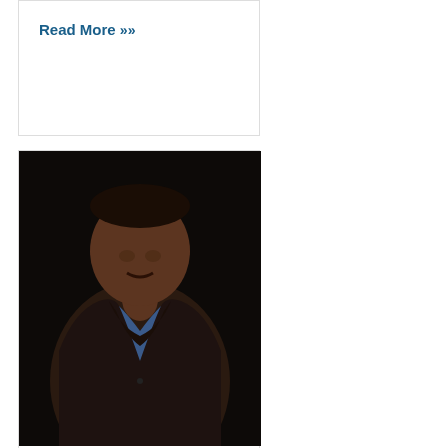Read More »
[Figure (photo): Portrait photo of Mr. Sagar Reddy, a man wearing a dark brown blazer over a blue shirt, standing against a dark background]
Mr. Sagar Reddy, Kadapa